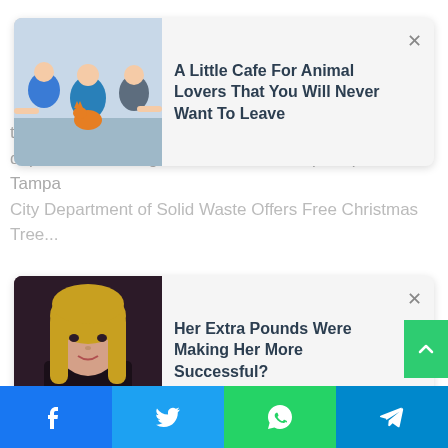[Figure (screenshot): Notification card 1: Animal cafe article with thumbnail of people with animals]
tampalp.com/city-of-tampa-solid-waste-department-offering-free-christmas-tree-pickup-service/ Tampa City Department of Solid Waste Offers Free Christmas Tree...
[Figure (screenshot): Notification card 2: Jessica Simpson article with thumbnail of blonde woman]
Her Extra Pounds Were Making Her More Successful?
Facebook | Twitter | WhatsApp | Telegram social share bar